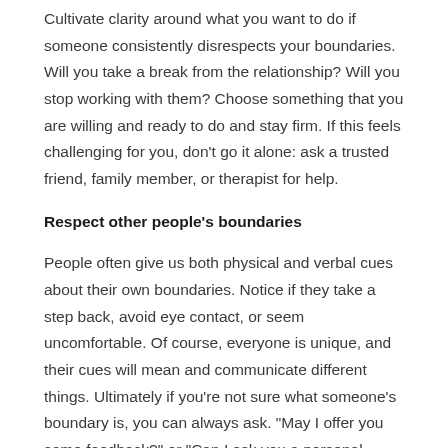Cultivate clarity around what you want to do if someone consistently disrespects your boundaries. Will you take a break from the relationship? Will you stop working with them? Choose something that you are willing and ready to do and stay firm. If this feels challenging for you, don't go it alone: ask a trusted friend, family member, or therapist for help.
Respect other people's boundaries
People often give us both physical and verbal cues about their own boundaries. Notice if they take a step back, avoid eye contact, or seem uncomfortable. Of course, everyone is unique, and their cues will mean and communicate different things. Ultimately if you're not sure what someone's boundary is, you can always ask. "May I offer you some feedback?" or "Can I ask you a personal question?"